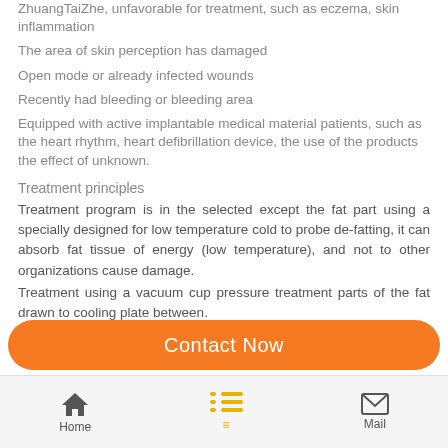ZhuangTaiZhe, unfavorable for treatment, such as eczema, skin inflammation
The area of skin perception has damaged
Open mode or already infected wounds
Recently had bleeding or bleeding area
Equipped with active implantable medical material patients, such as the heart rhythm, heart defibrillation device, the use of the products the effect of unknown.
Treatment principles
Treatment program is in the selected except the fat part using a specially designed for low temperature cold to probe de-fatting, it can absorb fat tissue of energy (low temperature), and not to other organizations cause damage.
Treatment using a vacuum cup pressure treatment parts of the fat drawn to cooling plate between.
In treatment program, the treatment of probe can precisely control the temperature cooling, it confirmed in a particular part of the body to eliminate fat
Contact Now
Home  Mail